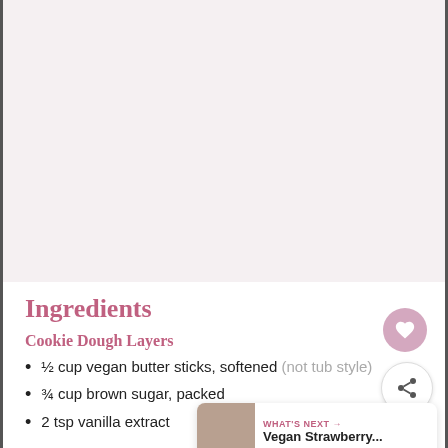[Figure (photo): Top portion of a recipe page showing a food photo (partially visible, mostly white/light background)]
Ingredients
Cookie Dough Layers
½ cup vegan butter sticks, softened (not tub style)
¾ cup brown sugar, packed
2 tsp vanilla extract